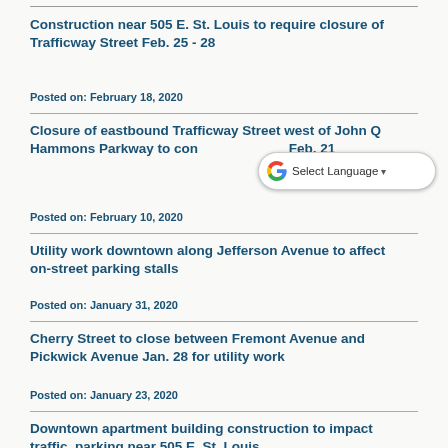Construction near 505 E. St. Louis to require closure of Trafficway Street Feb. 25 - 28
Posted on: February 18, 2020
Closure of eastbound Trafficway Street west of John Q Hammons Parkway to con... Feb. 21
Posted on: February 10, 2020
Utility work downtown along Jefferson Avenue to affect on-street parking stalls
Posted on: January 31, 2020
Cherry Street to close between Fremont Avenue and Pickwick Avenue Jan. 28 for utility work
Posted on: January 23, 2020
Downtown apartment building construction to impact traffic, parking near 505 E. St. Louis
Posted on: January 22, 2020